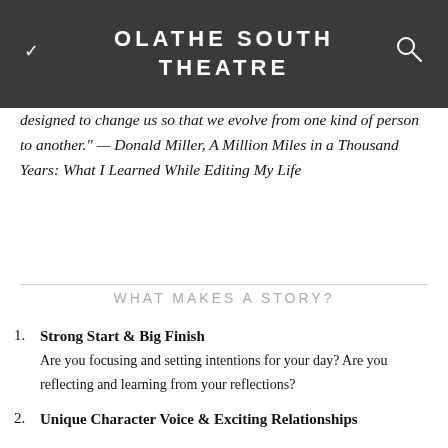OLATHE SOUTH THEATRE
designed to change us so that we evolve from one kind of person to another." — Donald Miller, A Million Miles in a Thousand Years: What I Learned While Editing My Life
WHAT MAKES A STORY?
Strong Start & Big Finish — Are you focusing and setting intentions for your day? Are you reflecting and learning from your reflections?
Unique Character Voice & Exciting Relationships